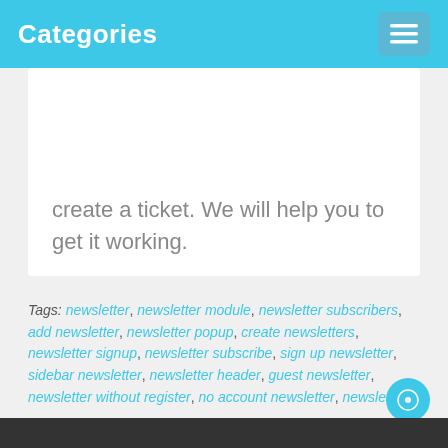Categories
create a ticket. We will help you to get it working.
Tags: newsletter, newsletter module, newsletter subscribers, add newsletter, newsletter popup, create newsletters, newsletter signup, newsletter subscribe, sign up newsletter, sidebar newsletter, newsletter header, guest newsletter, newsletter without register, no account newsletter, newsletter side, newsletter extension, newsletter addon, newsletter function, newsletter subscription, newsletter footer, footer newsletter, customers newsletter responsive, popup, control admin, news subscribe, newsletter unsubscribe, unsubscribe, subscribers, tmd newsletter, unsubscribe newsletter, newsletter guest, newsletter subscriber extension, newsletter extensions, popup newsletter, attractive newsletter, beautiful popup, email newsletter, add newsletter form, subscribe popup, create newsletter, custom newsletter, easy newsletter, newsletter quick subscribe, subscriber